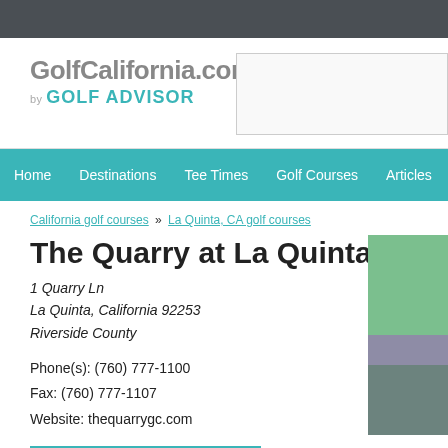GolfCalifornia.com by GOLF ADVISOR
Home  Destinations  Tee Times  Golf Courses  Articles
California golf courses » La Quinta, CA golf courses
The Quarry at La Quinta
1 Quarry Ln
La Quinta, California 92253
Riverside County
Phone(s): (760) 777-1100
Fax: (760) 777-1107
Website: thequarrygc.com
TEE TIMES IN THIS AREA